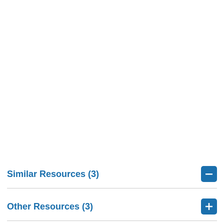Similar Resources (3)
Other Resources (3)
SEARCH FOR SIMILAR RESOURCES